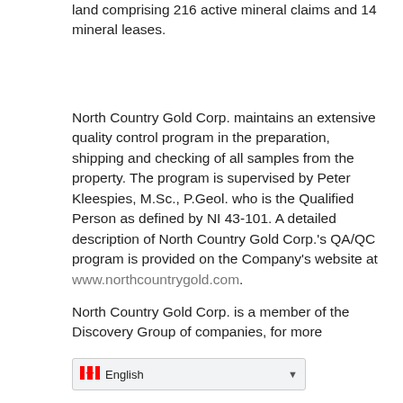land comprising 216 active mineral claims and 14 mineral leases.
North Country Gold Corp. maintains an extensive quality control program in the preparation, shipping and checking of all samples from the property. The program is supervised by Peter Kleespies, M.Sc., P.Geol. who is the Qualified Person as defined by NI 43-101. A detailed description of North Country Gold Corp.'s QA/QC program is provided on the Company's website at www.northcountrygold.com.
North Country Gold Corp. is a member of the Discovery Group of companies, for more information please visit